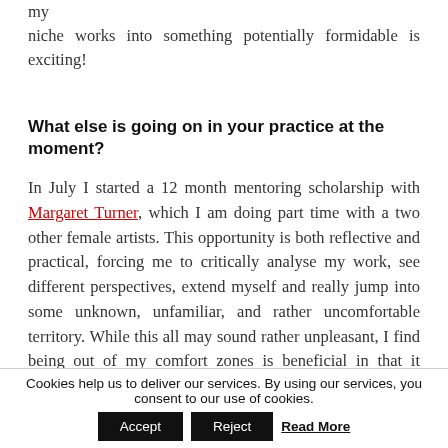my niche works into something potentially formidable is exciting!
What else is going on in your practice at the moment?
In July I started a 12 month mentoring scholarship with Margaret Turner, which I am doing part time with a two other female artists. This opportunity is both reflective and practical, forcing me to critically analyse my work, see different perspectives, extend myself and really jump into some unknown, unfamiliar, and rather uncomfortable territory. While this all may sound rather unpleasant, I find being out of my comfort zones is beneficial in that it develops my resilience and divergent thinking. The psychologist Mihaly Csikszentmihalyi says that when our
Cookies help us to deliver our services. By using our services, you consent to our use of cookies.